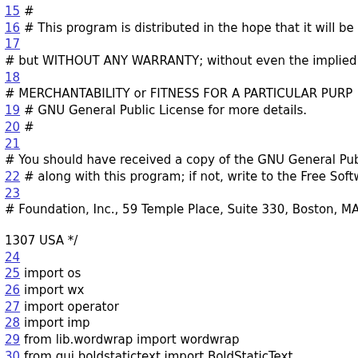15 #
16 # This program is distributed in the hope that it will be useful,
17
# but WITHOUT ANY WARRANTY; without even the implied war...
18
# MERCHANTABILITY or FITNESS FOR A PARTICULAR PURP...
19 # GNU General Public License for more details.
20 #
21
# You should have received a copy of the GNU General Public Licen...
22 # along with this program; if not, write to the Free Software
23
# Foundation, Inc., 59 Temple Place, Suite 330, Boston, MA  02111-1307  USA */
24
25 import os
26 import wx
27 import operator
28 import imp
29 from lib.wordwrap import wordwrap
30 from gui.boldstatictext import BoldStaticText
31 import viewers
32 import gui.fields
33
34 class Viewers: